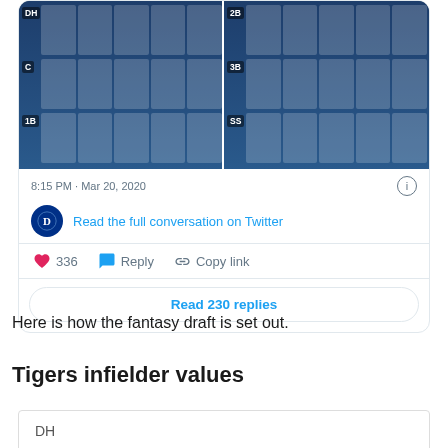[Figure (screenshot): Twitter/X embedded tweet card showing a baseball draft grid image with player cards arranged in positions DH, C, 1B, 2B, 3B, SS for the Detroit Tigers]
8:15 PM · Mar 20, 2020
Read the full conversation on Twitter
336  Reply  Copy link
Read 230 replies
Here is how the fantasy draft is set out.
Tigers infielder values
| DH |
| --- |